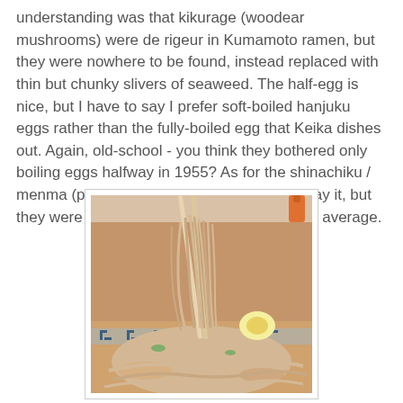understanding was that kikurage (woodear mushrooms) were de rigeur in Kumamoto ramen, but they were nowhere to be found, instead replaced with thin but chunky slivers of seaweed. The half-egg is nice, but I have to say I prefer soft-boiled hanjuku eggs rather than the fully-boiled egg that Keika dishes out. Again, old-school - you think they bothered only boiling eggs halfway in 1955? As for the shinachiku / menma (pickled bamboo shoots), I hate to say it, but they were a bit tinny and vinegary and below average.
[Figure (photo): Close-up photo of ramen noodles being lifted with chopsticks from a bowl with blue-patterned rim, showing broth, noodles, and toppings]